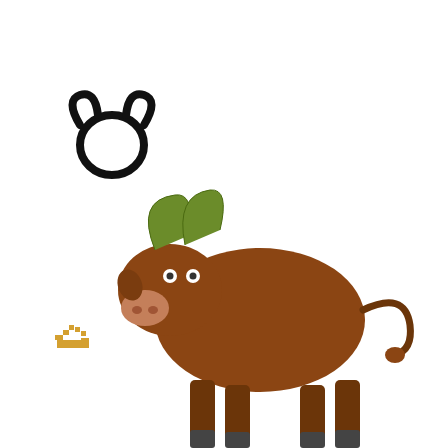[Figure (illustration): Cartoon bull/ox with horns, pixel-art style, facing right, with a Taurus zodiac symbol above it]
"The most beautiful stones have been tossed by the wind and washed
[Figure (infographic): Social sharing bar with Tweet, Like, and Share buttons]
Entire Thread
Subject
hmmm
Re: hmmm
Re: hmmm